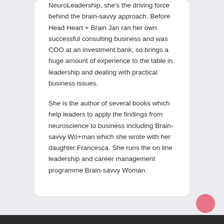NeuroLeadership, she's the driving force behind the brain-savvy approach. Before Head Heart + Brain Jan ran her own successful consulting business and was COO at an investment bank, so brings a huge amount of experience to the table in leadership and dealing with practical business issues.

She is the author of several books which help leaders to apply the findings from neuroscience to business including Brain-savvy Wo+man which she wrote with her daughter Francesca. She runs the on line leadership and career management programme Brain-savvy Woman.